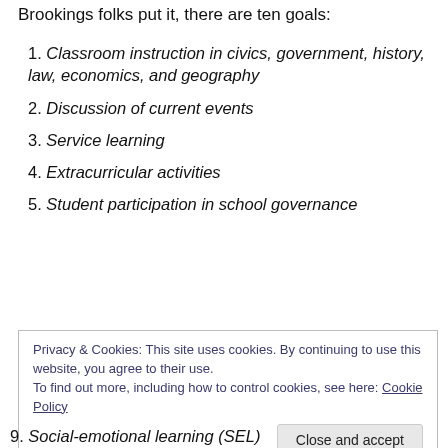Brookings folks put it, there are ten goals:
1. Classroom instruction in civics, government, history, law, economics, and geography
2. Discussion of current events
3. Service learning
4. Extracurricular activities
5. Student participation in school governance
Privacy & Cookies: This site uses cookies. By continuing to use this website, you agree to their use.
To find out more, including how to control cookies, see here: Cookie Policy
Close and accept
9. Social-emotional learning (SEL)